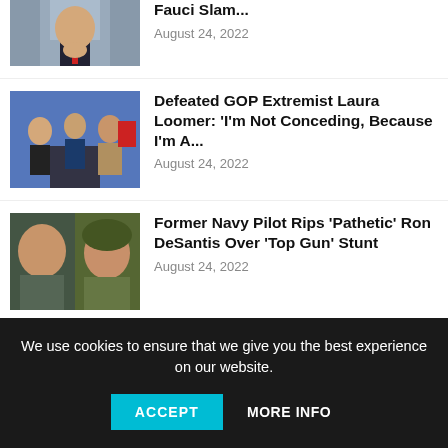[Figure (photo): Partial photo of a man at top of page (Fauci story)]
Fauci Slam...
August 24, 2022
[Figure (photo): People at a podium with official seal]
Defeated GOP Extremist Laura Loomer: ‘I’m Not Conceding, Because I’m A...
August 24, 2022
[Figure (photo): Two men's faces side by side, Ron DeSantis and a soldier]
Former Navy Pilot Rips ‘Pathetic’ Ron DeSantis Over ‘Top Gun’ Stunt
August 24, 2022
[Figure (photo): Partial photo of a bald man (Ebonyi PDP story)]
2023: Ebonyi PDP guber candidate Odii is acco...
We use cookies to ensure that we give you the best experience on our website.